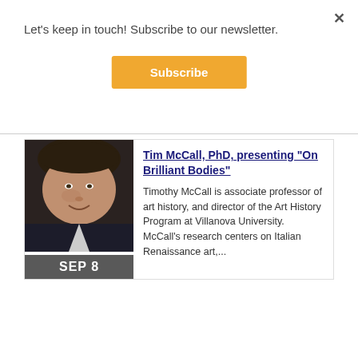Let's keep in touch! Subscribe to our newsletter.
Subscribe
Tim McCall, PhD, presenting "On Brilliant Bodies"
[Figure (photo): Headshot of Tim McCall, a man in a suit, with date label SEP 8 overlaid at the bottom of the photo.]
Timothy McCall is associate professor of art history, and director of the Art History Program at Villanova University. McCall's research centers on Italian Renaissance art,...